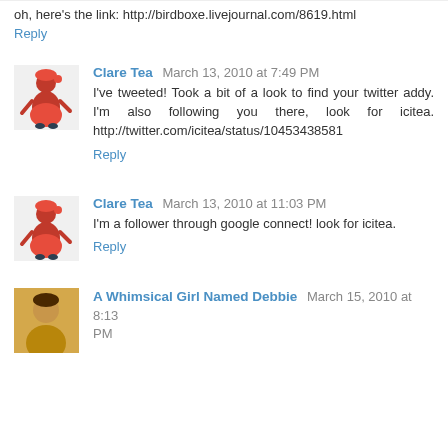oh, here's the link: http://birdboxe.livejournal.com/8619.html
Reply
Clare Tea  March 13, 2010 at 7:49 PM
I've tweeted! Took a bit of a look to find your twitter addy. I'm also following you there, look for icitea. http://twitter.com/icitea/status/10453438581
Reply
Clare Tea  March 13, 2010 at 11:03 PM
I'm a follower through google connect! look for icitea.
Reply
A Whimsical Girl Named Debbie  March 15, 2010 at 8:13 PM